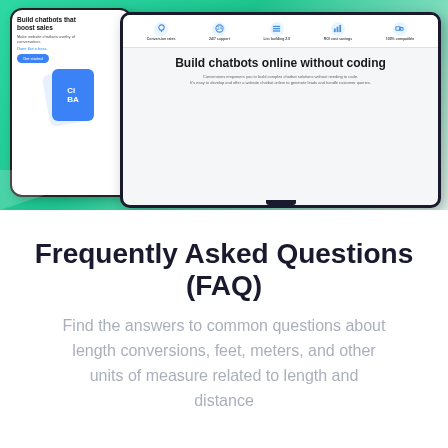[Figure (screenshot): Screenshot of a chatbot SaaS website showing a mobile phone mockup and tablet mockup. The phone shows 'Build chatbots that boost sales' with a Get started button. The tablet shows 'Build chatbots online without coding' with feature icons for conversion rates, 24/7 support, list building 2.0, ROI cost savings, and 100% compatible. Background is teal/green gradient.]
Frequently Asked Questions (FAQ)
Find the answers to common questions about length conversions, feet, meters, and other units of measure related to length and distance